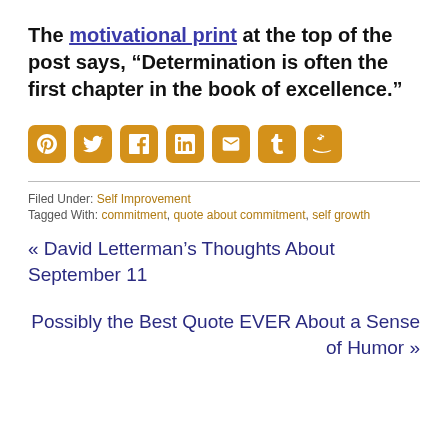The motivational print at the top of the post says, “Determination is often the first chapter in the book of excellence.”
[Figure (other): Row of 7 orange social media sharing icon buttons: Pinterest, Twitter, Facebook, LinkedIn, Email, Tumblr, Amazon]
Filed Under: Self Improvement
Tagged With: commitment, quote about commitment, self growth
« David Letterman’s Thoughts About September 11
Possibly the Best Quote EVER About a Sense of Humor »